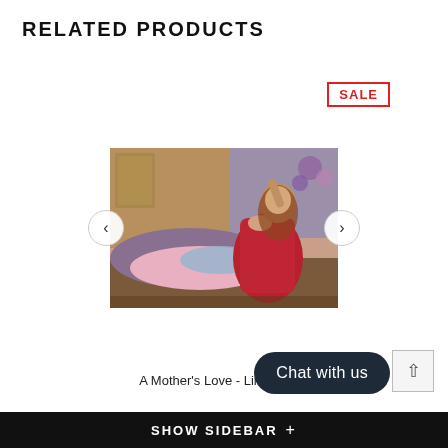RELATED PRODUCTS
SALE
[Figure (illustration): Painting of a mother in a red dress sitting with a child resting against her, with floral background. Navigation arrows on left and right sides.]
A Mother's Love - Limited E...
Chat with us
SHOW SIDEBAR +